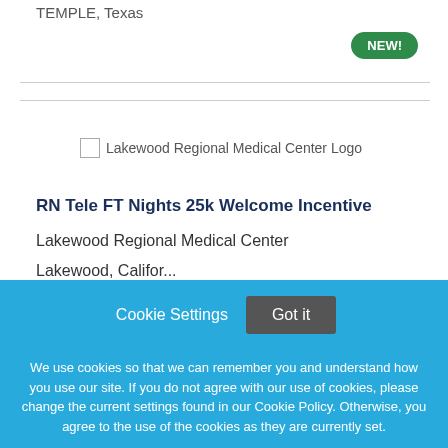TEMPLE, Texas
NEW!
[Figure (logo): Lakewood Regional Medical Center Logo]
RN Tele FT Nights 25k Welcome Incentive
Lakewood Regional Medical Center
Lakewood, California (partial, cut off)
Cookie Settings
Got it
We use cookies so that we can remember you and understand how you use our site. If you do not agree with our use of cookies, please change the current settings found in our Cookie Policy. Otherwise, you agree to the use of the cookies as they are currently set.